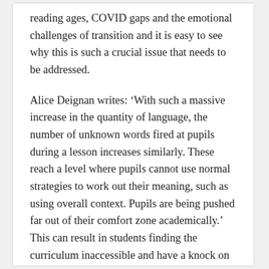reading ages, COVID gaps and the emotional challenges of transition and it is easy to see why this is such a crucial issue that needs to be addressed.
Alice Deignan writes: ‘With such a massive increase in the quantity of language, the number of unknown words fired at pupils during a lesson increases similarly. These reach a level where pupils cannot use normal strategies to work out their meaning, such as using overall context. Pupils are being pushed far out of their comfort zone academically.’ This can result in students finding the curriculum inaccessible and have a knock on effect on their confidence around learning. They can assume they’re falling behind and may not be confident to ask questions as they...